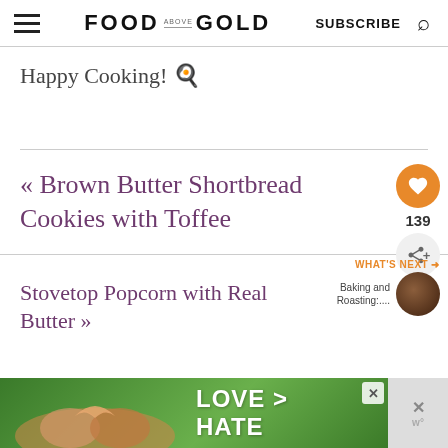FOOD ABOVE GOLD — SUBSCRIBE
Happy Cooking! 🍳
« Brown Butter Shortbread Cookies with Toffee
139
WHAT'S NEXT → Baking and Roasting:....
Stovetop Popcorn with Real Butter »
[Figure (photo): Advertisement banner showing hands forming a heart shape with text LOVE > HATE on a green background]